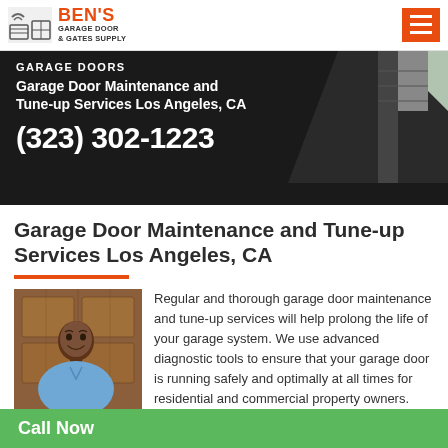BEN'S GARAGE DOOR & GATES SUPPLY
[Figure (infographic): Hero banner with dark background showing 'GARAGE DOORS' label, 'Garage Door Maintenance and Tune-up Services Los Angeles, CA' text, phone number (323) 302-1223, and a partial image of a garage door on the right]
Garage Door Maintenance and Tune-up Services Los Angeles, CA
[Figure (photo): Photo of a man in a blue shirt smiling in front of a wooden garage door]
Regular and thorough garage door maintenance and tune-up services will help prolong the life of your garage system. We use advanced diagnostic tools to ensure that your garage door is running safely and optimally at all times for residential and commercial property owners.